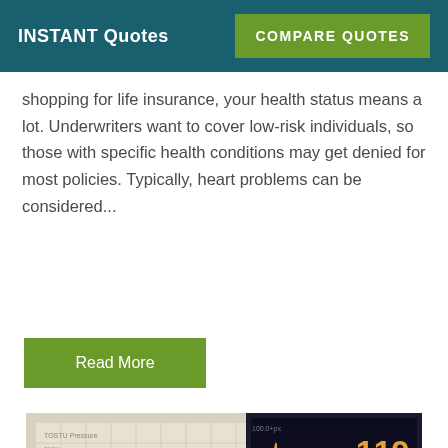INSTANT Quotes | COMPARE QUOTES
shopping for life insurance, your health status means a lot. Underwriters want to cover low-risk individuals, so those with specific health conditions may get denied for most policies. Typically, heart problems can be considered...
Read More
[Figure (photo): Medical monitor displaying heart rate 119 and number 17, with a paper chart showing ECG-like waveforms in the foreground]